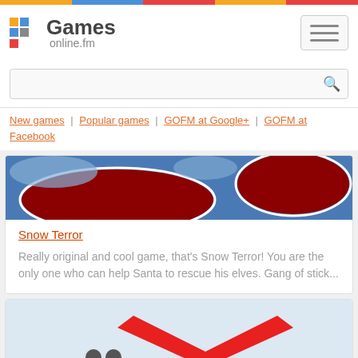[Figure (logo): Games online.fm logo with colorful grid squares and text]
Search bar
New games | Popular games | GOFM at Google+ | GOFM at Facebook
[Figure (screenshot): Snow Terror game banner - blue and red cartoon shapes]
Snow Terror
Really original and cool game, that's Snow Terror! You are the only one who can help Santa to rescue his elves. Gang of stick...
[Figure (screenshot): Second game banner - red boomerang/chevron shape on light background]